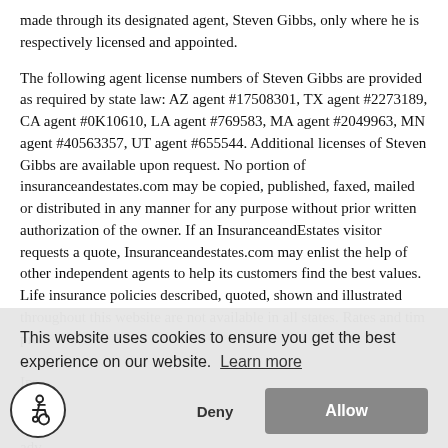made through its designated agent, Steven Gibbs, only where he is respectively licensed and appointed.
The following agent license numbers of Steven Gibbs are provided as required by state law: AZ agent #17508301, TX agent #2273189, CA agent #0K10610, LA agent #769583, MA agent #2049963, MN agent #40563357, UT agent #655544. Additional licenses of Steven Gibbs are available upon request. No portion of insuranceandestates.com may be copied, published, faxed, mailed or distributed in any manner for any purpose without prior written authorization of the owner. If an InsuranceandEstates visitor requests a quote, Insuranceandestates.com may enlist the help of other independent agents to help its customers find the best values. Life insurance policies described, quoted, shown and illustrated throughout this website are not available in all states. Rates and tim pro Ins LLC de: adv
This website uses cookies to ensure you get the best experience on our website. Learn more
Deny
Allow